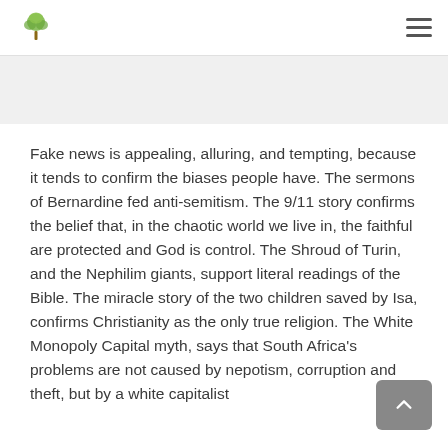Logo and navigation menu
Fake news is appealing, alluring, and tempting, because it tends to confirm the biases people have. The sermons of Bernardine fed anti-semitism. The 9/11 story confirms the belief that, in the chaotic world we live in, the faithful are protected and God is control. The Shroud of Turin, and the Nephilim giants, support literal readings of the Bible. The miracle story of the two children saved by Isa, confirms Christianity as the only true religion. The White Monopoly Capital myth, says that South Africa's problems are not caused by nepotism, corruption and theft, but by a white capitalist